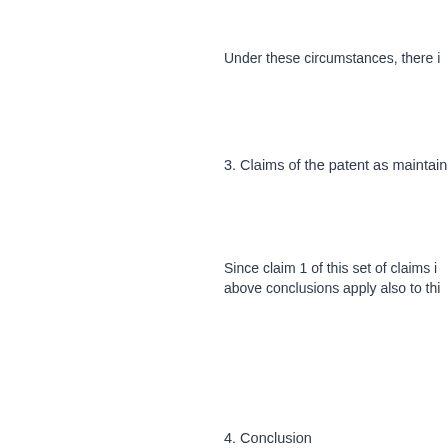Under these circumstances, there i
3. Claims of the patent as maintain
Since claim 1 of this set of claims is
above conclusions apply also to thi
4. Conclusion
[Figure (screenshot): Cookie consent banner with blue background, title 'We use cookies', body text about cookies and analytics with a link, and an OK button.]
on un
nce c
s ma
o not
2) an
d tha